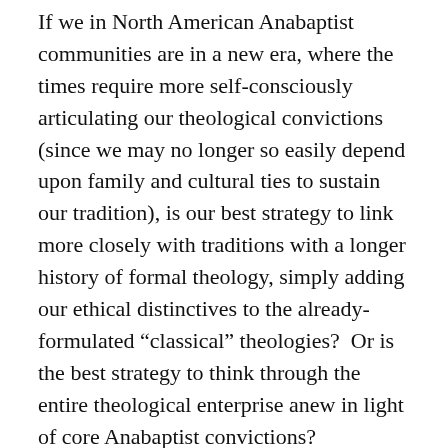If we in North American Anabaptist communities are in a new era, where the times require more self-consciously articulating our theological convictions (since we may no longer so easily depend upon family and cultural ties to sustain our tradition), is our best strategy to link more closely with traditions with a longer history of formal theology, simply adding our ethical distinctives to the already-formulated “classical” theologies?  Or is the best strategy to think through the entire theological enterprise anew in light of core Anabaptist convictions?
This latter approach, which I endorse, would, for example, emphasize that a pacifist doctrine of God